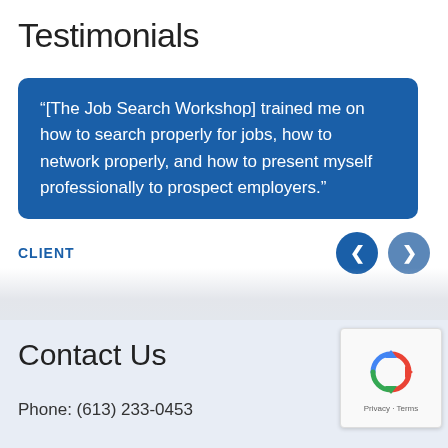Testimonials
“[The Job Search Workshop] trained me on how to search properly for jobs, how to network properly, and how to present myself professionally to prospect employers.”
CLIENT
Contact Us
Phone: (613) 233-0453